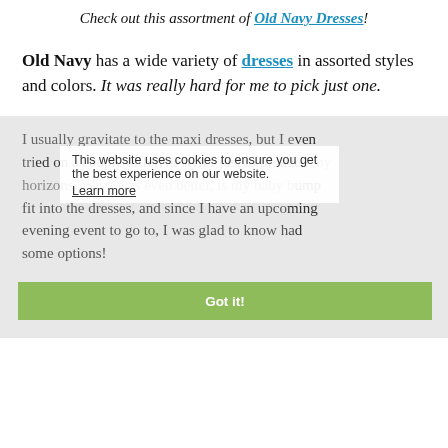Check out this assortment of Old Navy Dresses!
Old Navy has a wide variety of dresses in assorted styles and colors. It was really hard for me to pick just one.
I usually gravitate to the maxi dresses, but I even tried on a couple different styles just to broaden my horizons. What was even better, is my baby bump fit into the dresses, and since I have an upcoming evening event to go to, I was glad to know had some options!
This website uses cookies to ensure you get the best experience on our website. Learn more
Got it!